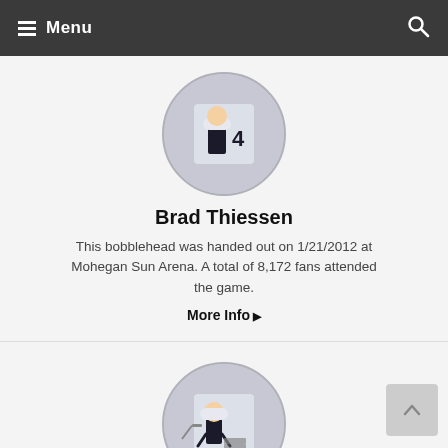Menu
[Figure (photo): Circular avatar photo of Brad Thiessen bobblehead]
Brad Thiessen
This bobblehead was handed out on 1/21/2012 at Mohegan Sun Arena. A total of 8,172 fans attended the game.
More Info ▶
[Figure (photo): Circular avatar photo of Sidney Crosby bobblehead]
Sidney Crosby
This bobblehead was handed out on 4/2/2011 at Mohegan Sun Arena. A total of 8,278 fans attended the game.
More Info ▶